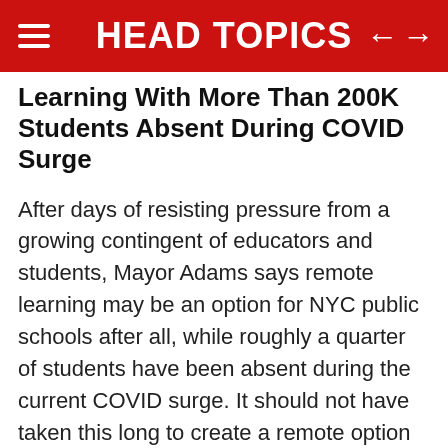HEAD TOPICS
Learning With More Than 200K Students Absent During COVID Surge
After days of resisting pressure from a growing contingent of educators and students, Mayor Adams says remote learning may be an option for NYC public schools after all, while roughly a quarter of students have been absent during the current COVID surge. It should not have taken this long to create a remote option for kids, if families asked for one months ago. City agencies and our leaders need to stop with the whiplash policies and mandates and instead LISTEN to what